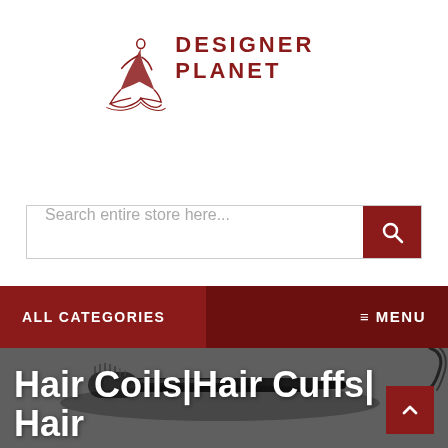[Figure (logo): Designer Planet logo: stylized figure in dark red with text 'DESIGNER PLANET' in uppercase bold dark red letters]
Search entire store here...
ALL CATEGORIES
≡ MENU
[Figure (photo): A mascara wand/brush on a grey background with a hairpin visible]
Hair Coils|Hair Cuffs| Hair